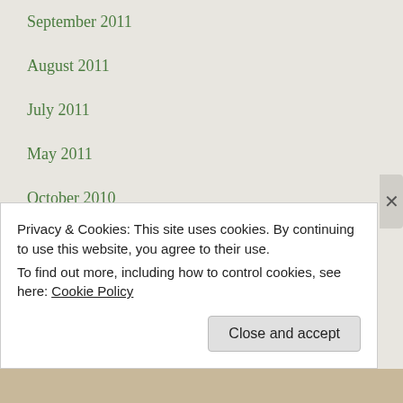September 2011
August 2011
July 2011
May 2011
October 2010
September 2010
July 2010
June 2010
May 2010
April 2010
Privacy & Cookies: This site uses cookies. By continuing to use this website, you agree to their use.
To find out more, including how to control cookies, see here: Cookie Policy
Close and accept